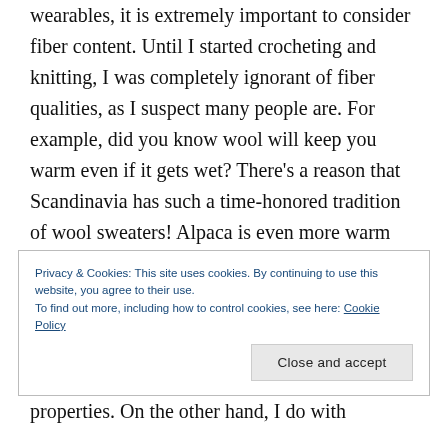wearables, it is extremely important to consider fiber content. Until I started crocheting and knitting, I was completely ignorant of fiber qualities, as I suspect many people are. For example, did you know wool will keep you warm even if it gets wet? There's a reason that Scandinavia has such a time-honored tradition of wool sweaters! Alpaca is even more warm than wool, and also has the property of providing warmth when wet. This article covers all the great reasons wool is a great buy. Bamboo is also environmentally friendly and has antibacterial properties. On the other hand, I do with
Privacy & Cookies: This site uses cookies. By continuing to use this website, you agree to their use.
To find out more, including how to control cookies, see here: Cookie Policy
Close and accept
and also in that and also at both). H...